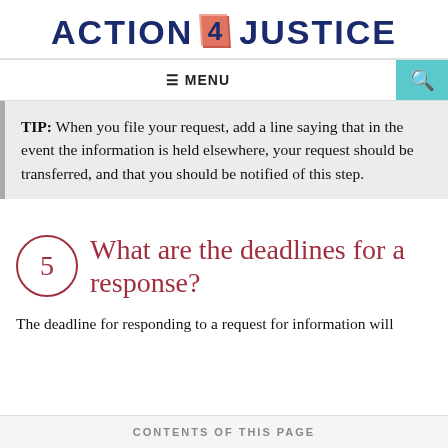ACTION 4 JUSTICE
≡ MENU
TIP: When you file your request, add a line saying that in the event the information is held elsewhere, your request should be transferred, and that you should be notified of this step.
5 What are the deadlines for a response?
The deadline for responding to a request for information will
CONTENTS OF THIS PAGE